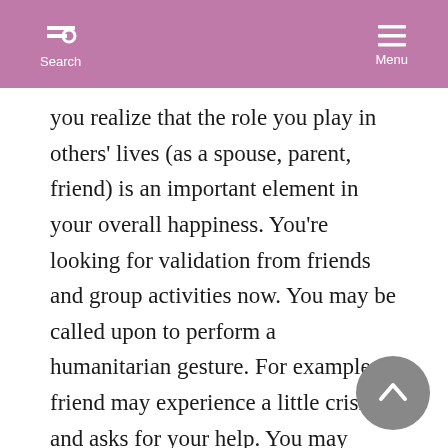Search | Menu
you realize that the role you play in others' lives (as a spouse, parent, friend) is an important element in your overall happiness. You're looking for validation from friends and group activities now. You may be called upon to perform a humanitarian gesture. For example, a friend may experience a little crisis and asks for your help. You may suddenly find yourself around many people, perhaps after a period of relative solitude or private time.
January 22-23 Your Personal New Moon. A new personal cycle begins for you, and you feel fresh and re-energized. It's all about you now, so it's time to put your best foot forward. A blast of personal energy comes your way, and